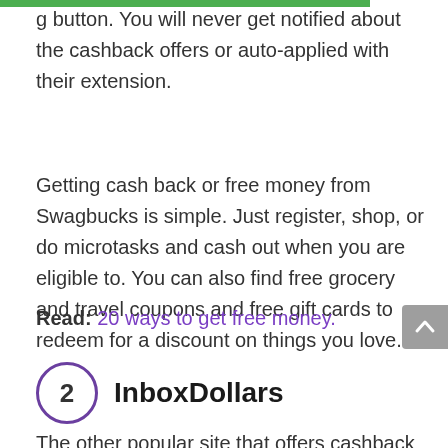g button. You will never get notified about the cashback offers or auto-applied with their extension.
Getting cash back or free money from Swagbucks is simple. Just register, shop, or do microtasks and cash out when you are eligible to. You can also find free grocery and travel coupons and free gift cards to redeem for a discount on things you love.
Read: 20 ways to get free money.
2 InboxDollars
The other popular site that offers cashback and rewards is